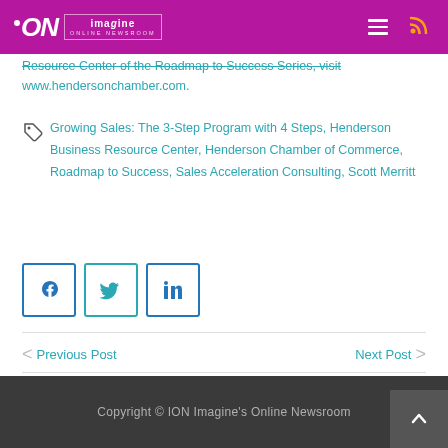iON Imagine Online Newsroom
Resource Center of the Roadmap to Success Series, visit www.hendersonchamber.com.
Growing Sales: The 3-Step Program with 4 Steps, Henderson Business Resource Center, Henderson Chamber of Commerce, Roadmap to Success, Sales Acceleration Consulting, Scott Merritt
[Figure (other): Social share buttons: Facebook, Twitter, LinkedIn]
< Previous Post    Next Post >
Copyright © ION Imagine's Online Newsroom